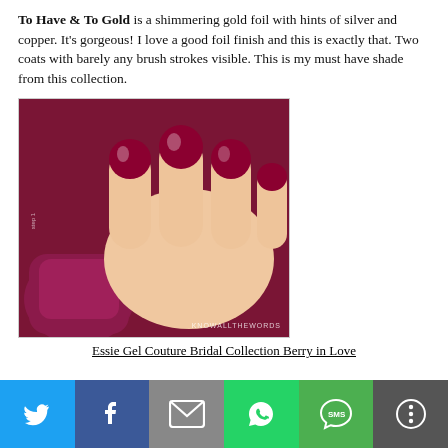To Have & To Gold is a shimmering gold foil with hints of silver and copper. It's gorgeous! I love a good foil finish and this is exactly that. Two coats with barely any brush strokes visible. This is my must have shade from this collection.
[Figure (photo): Close-up photo of a hand with deep red/berry nail polish (Essie Gel Couture Berry in Love), holding a dark berry-colored nail polish bottle. Watermark reads KNOWALLTHEWORDS.]
Essie Gel Couture Bridal Collection Berry in Love